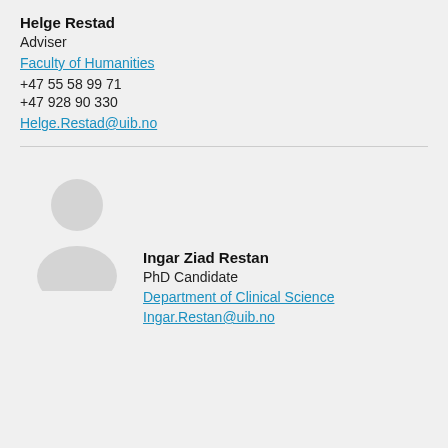Helge Restad
Adviser
Faculty of Humanities
+47 55 58 99 71
+47 928 90 330
Helge.Restad@uib.no
[Figure (illustration): Default grey placeholder avatar silhouette for a person profile image]
Ingar Ziad Restan
PhD Candidate
Department of Clinical Science
Ingar.Restan@uib.no